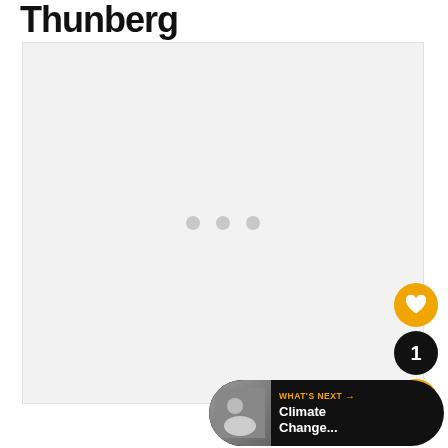Thunberg
[Figure (other): Loading media placeholder with three grey dots indicating a video or image is loading]
[Figure (infographic): Circular UI buttons: heart/favorite button in orange, number badge '1' in black, share button in orange]
WHAT'S NEXT → Climate Change...